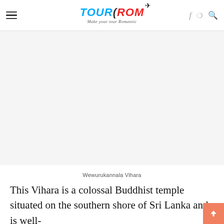TOURROM — Make your tour Romantic
[Figure (photo): Image placeholder area for Wewurukannala Vihara — large white/light grey rectangular area representing a photograph of the temple]
Wewurukannala Vihara
This Vihara is a colossal Buddhist temple situated on the southern shore of Sri Lanka and is well-